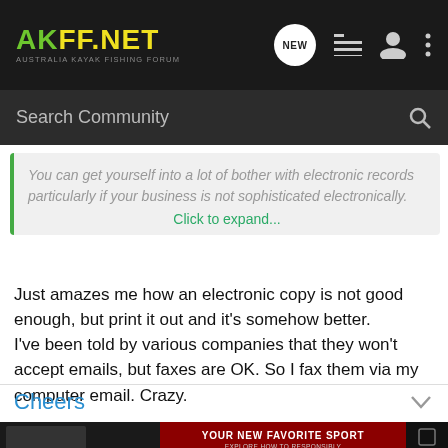AKFF.NET AUSTRALIA KAYAK FISHING FORUM
Search Community
You can get yourself into a lot of bother with electronic records particularly if your business is not sophisticated electronically.
Click to expand...
Just amazes me how an electronic copy is not good enough, but print it out and it's somehow better.
I've been told by various companies that they won't accept emails, but faxes are OK. So I fax them via my computer email. Crazy.
Cheers
Craig
[Figure (screenshot): Advertisement banner: YOUR NEW FAVORITE SPORT - EXPLORE HOW TO RESPONSIBLY PARTICIPATE IN THE SHOOTING SPORTS. START HERE!]